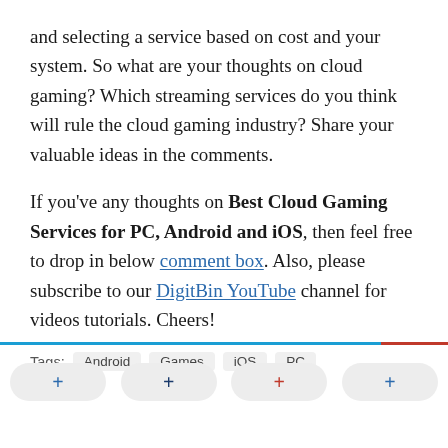and selecting a service based on cost and your system. So what are your thoughts on cloud gaming? Which streaming services do you think will rule the cloud gaming industry? Share your valuable ideas in the comments.
If you've any thoughts on Best Cloud Gaming Services for PC, Android and iOS, then feel free to drop in below comment box. Also, please subscribe to our DigitBin YouTube channel for videos tutorials. Cheers!
Tags: Android  Games  iOS  PC